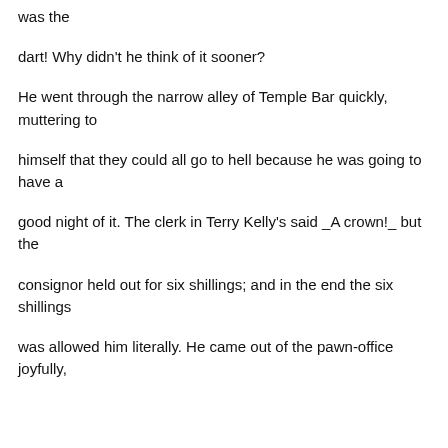was the
dart! Why didn't he think of it sooner?
He went through the narrow alley of Temple Bar quickly, muttering to
himself that they could all go to hell because he was going to have a
good night of it. The clerk in Terry Kelly's said _A crown!_ but the
consignor held out for six shillings; and in the end the six shillings
was allowed him literally. He came out of the pawn-office joyfully,